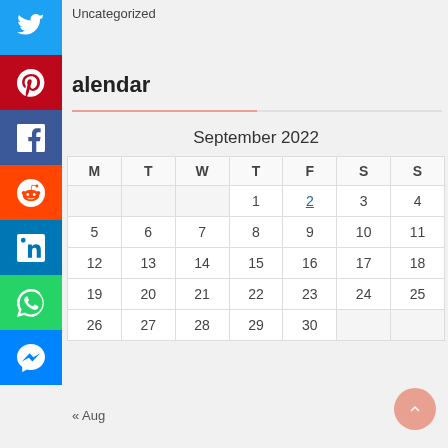Uncategorized
alendar
| M | T | W | T | F | S | S |
| --- | --- | --- | --- | --- | --- | --- |
|  |  |  | 1 | 2 | 3 | 4 |
| 5 | 6 | 7 | 8 | 9 | 10 | 11 |
| 12 | 13 | 14 | 15 | 16 | 17 | 18 |
| 19 | 20 | 21 | 22 | 23 | 24 | 25 |
| 26 | 27 | 28 | 29 | 30 |  |  |
« Aug